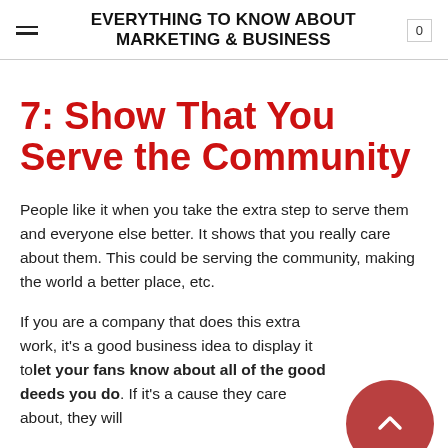EVERYTHING TO KNOW ABOUT MARKETING & BUSINESS
7: Show That You Serve the Community
People like it when you take the extra step to serve them and everyone else better. It shows that you really care about them. This could be serving the community, making the world a better place, etc.
If you are a company that does this extra work, it's a good business idea to display it to let your fans know about all of the good deeds you do. If it's a cause they care about, they will